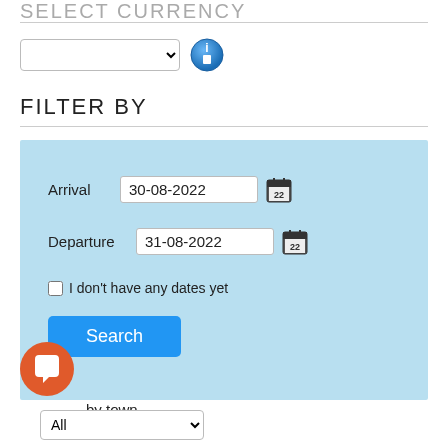SELECT CURRENCY
[Figure (screenshot): Dropdown selector for currency with an info icon next to it]
FILTER BY
[Figure (screenshot): Filter panel with light blue background containing Arrival date field (30-08-2022), Departure date field (31-08-2022), a checkbox for 'I don't have any dates yet', and a blue Search button]
[Figure (screenshot): Orange chat bubble icon in bottom left corner]
by town
[Figure (screenshot): Dropdown selector showing 'All' option for filtering by town]